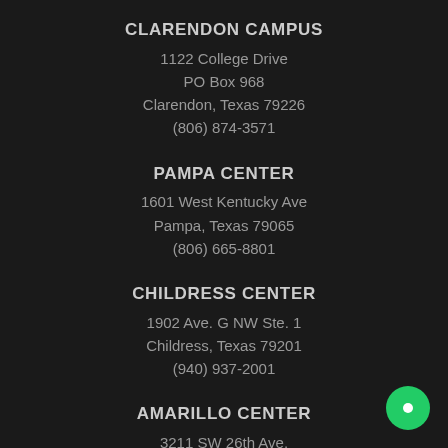CLARENDON CAMPUS
1122 College Drive
PO Box 968
Clarendon, Texas 79226
(806) 874-3571
PAMPA CENTER
1601 West Kentucky Ave
Pampa, Texas 79065
(806) 665-8801
CHILDRESS CENTER
1902 Ave. G NW Ste. 1
Childress, Texas 79201
(940) 937-2001
AMARILLO CENTER
3211 SW 26th Ave.
Amarillo, Texas 79109